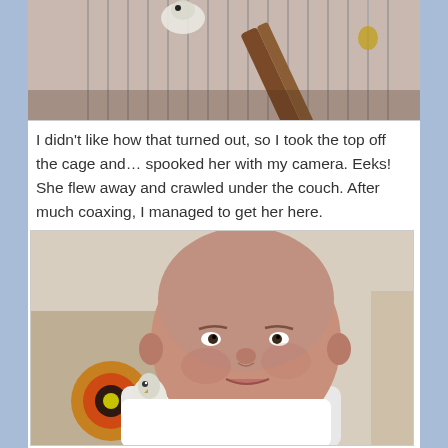[Figure (photo): Top portion of a photo showing a bird cage with a bird perched inside, close-up view from above showing cage bars and a colorful wooden perch toy]
I didn't like how that turned out, so I took the top off the cage and… spooked her with my camera. Eeks! She flew away and crawled under the couch. After much coaxing, I managed to get her here.
[Figure (photo): Selfie photo of a bald man in a white t-shirt looking at the camera with a small white budgie/parakeet perched on his shoulder. A colorful abstract painting is visible in the background.]